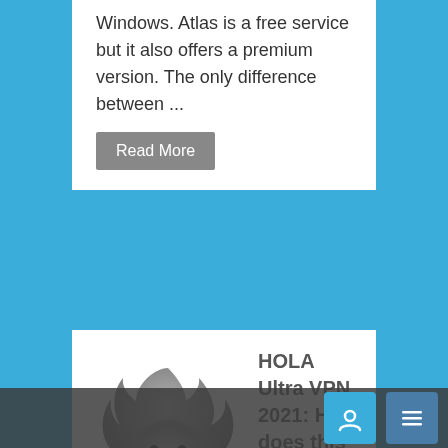Windows. Atlas is a free service but it also offers a premium version. The only difference between ...
Read More
[Figure (logo): Hola VPN logo - a flame-shaped smiley face character in grey with the word 'hola!' in black text below]
HOLA Ultra VPN 2021: How does this Premium VPN perform?
HOLA Ultra Review (Firefox add-on) The Israeli provider HOLA VPN is best known for its free service. Bu... e are also other plans - HOLA Premium and HOLA